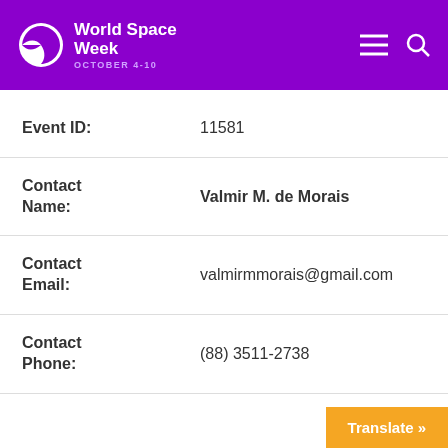World Space Week OCTOBER 4-10
| Field | Value |
| --- | --- |
| Event ID: | 11581 |
| Contact Name: | Valmir M. de Morais |
| Contact Email: | valmirmmorais@gmail.com |
| Contact Phone: | (88) 3511-2738 |